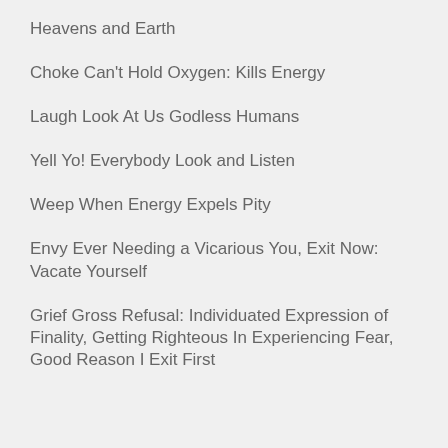Heavens and Earth
Choke Can't Hold Oxygen: Kills Energy
Laugh Look At Us Godless Humans
Yell Yo! Everybody Look and Listen
Weep When Energy Expels Pity
Envy Ever Needing a Vicarious You, Exit Now: Vacate Yourself
Grief Gross Refusal: Individuated Expression of Finality, Getting Righteous In Experiencing Fear, Good Reason I Exit First